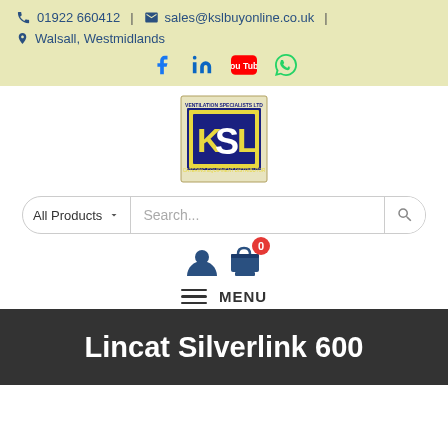📞 01922 660412 | ✉ sales@kslbuyonline.co.uk | 📍 Walsall, Westmidlands
[Figure (logo): KSL logo - blue square with KSL text, ventilation specialists catering equipment distributors]
All Products | Search...
[Figure (infographic): User account icon and shopping bag/cart icon with badge showing 0 items]
≡ MENU
Lincat Silverlink 600